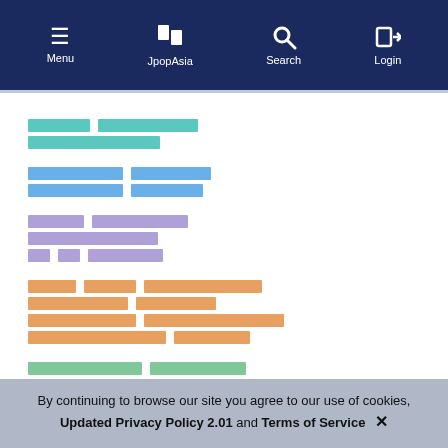Menu | JpopAsia | Search | Login
[Figure (screenshot): Website content with redacted/obfuscated text links in various colors (teal, blue, purple, orange, green) arranged in multiple groups]
By continuing to browse our site you agree to our use of cookies, Updated Privacy Policy 2.01 and Terms of Service